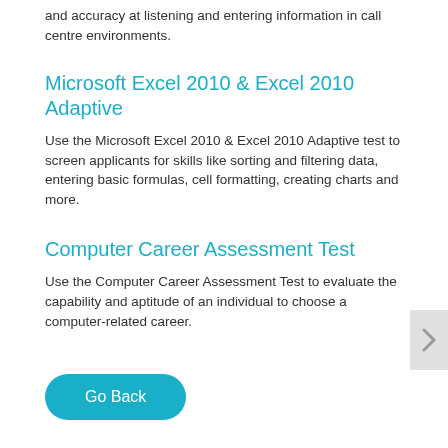and accuracy at listening and entering information in call centre environments.
Microsoft Excel 2010 & Excel 2010 Adaptive
Use the Microsoft Excel 2010 & Excel 2010 Adaptive test to screen applicants for skills like sorting and filtering data, entering basic formulas, cell formatting, creating charts and more.
Computer Career Assessment Test
Use the Computer Career Assessment Test to evaluate the capability and aptitude of an individual to choose a computer-related career.
Go Back